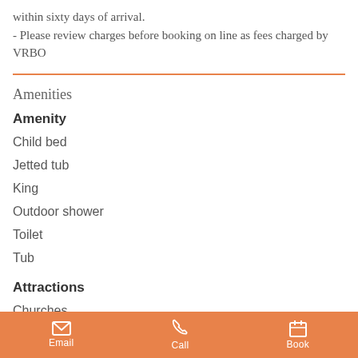within sixty days of arrival.
- Please review charges before booking on line as fees charged by VRBO
Amenities
Amenity
Child bed
Jetted tub
King
Outdoor shower
Toilet
Tub
Attractions
Churches
Cinemas
Festivals
Email   Call   Book